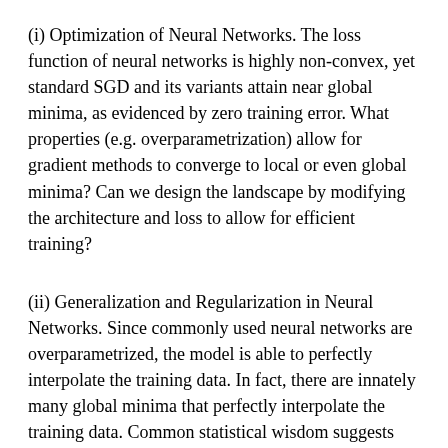(i) Optimization of Neural Networks. The loss function of neural networks is highly non-convex, yet standard SGD and its variants attain near global minima, as evidenced by zero training error. What properties (e.g. overparametrization) allow for gradient methods to converge to local or even global minima? Can we design the landscape by modifying the architecture and loss to allow for efficient training?
(ii) Generalization and Regularization in Neural Networks. Since commonly used neural networks are overparametrized, the model is able to perfectly interpolate the training data. In fact, there are innately many global minima that perfectly interpolate the training data. Common statistical wisdom suggests that most of these models will